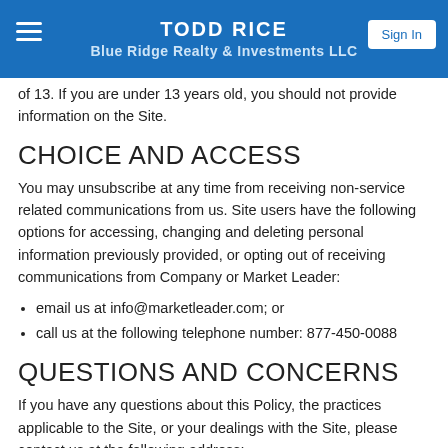TODD RICE
Blue Ridge Realty & Investments LLC
of 15. If you are under 13 years old, you should not provide information on the Site.
CHOICE AND ACCESS
You may unsubscribe at any time from receiving non-service related communications from us. Site users have the following options for accessing, changing and deleting personal information previously provided, or opting out of receiving communications from Company or Market Leader:
email us at info@marketleader.com; or
call us at the following telephone number: 877-450-0088
QUESTIONS AND CONCERNS
If you have any questions about this Policy, the practices applicable to the Site, or your dealings with the Site, please contact us at the following address: